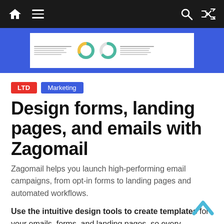Navigation bar with home icon, hamburger menu, search icon, and shuffle icon
[Figure (screenshot): Hero banner showing a dashboard preview with donut charts and data tables on a blue background]
LTD  Marketing
Design forms, landing pages, and emails with Zagomail
Zagomail helps you launch high-performing email campaigns, from opt-in forms to landing pages and automated workflows.
Use the intuitive design tools to create templates for your emails, forms, and landing pages, so every touchpoint feels on-brand.
Get started with pre-built workflow automations